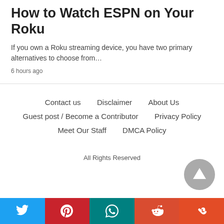How to Watch ESPN on Your Roku
If you own a Roku streaming device, you have two primary alternatives to choose from…
6 hours ago
Contact us   Disclaimer   About Us   Guest post / Become a Contributor   Privacy Policy   Meet Our Staff   DMCA Policy
All Rights Reserved